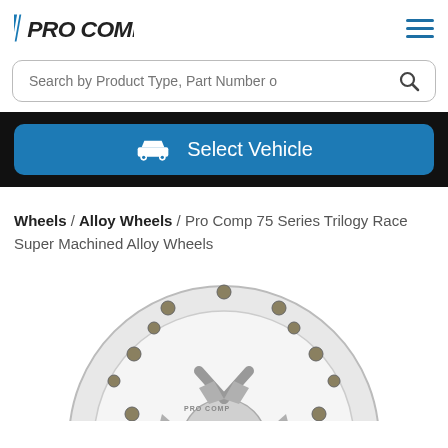[Figure (logo): Pro Comp logo — stylized italic text with blue racing stripes]
[Figure (screenshot): Search bar with placeholder text 'Search by Product Type, Part Number o' and a magnifying glass icon]
[Figure (screenshot): Blue 'Select Vehicle' button with a car icon on a black background banner]
Wheels / Alloy Wheels / Pro Comp 75 Series Trilogy Race Super Machined Alloy Wheels
[Figure (photo): Close-up photo of a Pro Comp 75 Series Trilogy Race Super Machined Alloy Wheel, silver with bolt holes around the rim]